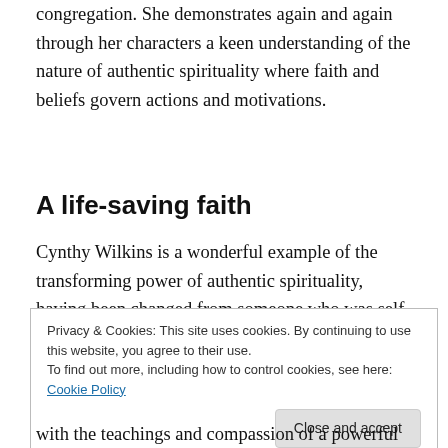congregation. She demonstrates again and again through her characters a keen understanding of the nature of authentic spirituality where faith and beliefs govern actions and motivations.
A life-saving faith
Cynthy Wilkins is a wonderful example of the transforming power of authentic spirituality, having been changed from someone who was self-centered and dissatisfied to a woman full of optimism, governed by peace. She glows
Privacy & Cookies: This site uses cookies. By continuing to use this website, you agree to their use.
To find out more, including how to control cookies, see here: Cookie Policy
with the teachings and compassion of a powerful preacher